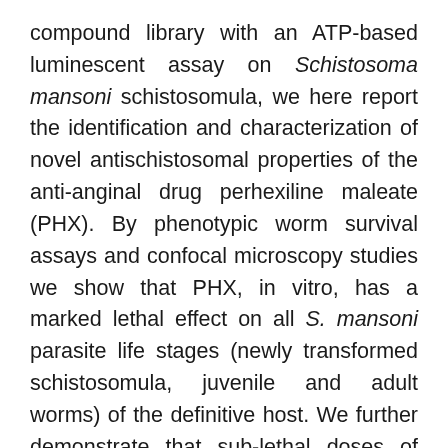compound library with an ATP-based luminescent assay on Schistosoma mansoni schistosomula, we here report the identification and characterization of novel antischistosomal properties of the anti-anginal drug perhexiline maleate (PHX). By phenotypic worm survival assays and confocal microscopy studies we show that PHX, in vitro, has a marked lethal effect on all S. mansoni parasite life stages (newly transformed schistosomula, juvenile and adult worms) of the definitive host. We further demonstrate that sub-lethal doses of PHX significantly impair egg production and lipid depletion within the vitellarium of adult female worms. Moreover, we highlighted tegumental damage in adult male worms and remarkable reproductive system alterations in both female and male adult